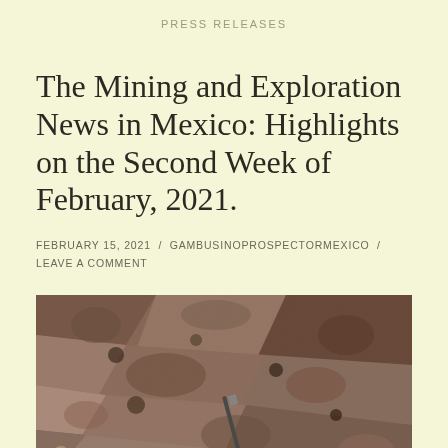PRESS RELEASES
The Mining and Exploration News in Mexico: Highlights on the Second Week of February, 2021.
FEBRUARY 15, 2021 / GAMBUSINOPROSPECTORMEXICO / LEAVE A COMMENT
[Figure (photo): Close-up photograph of rough rocky/mineral surface with a pen for scale]